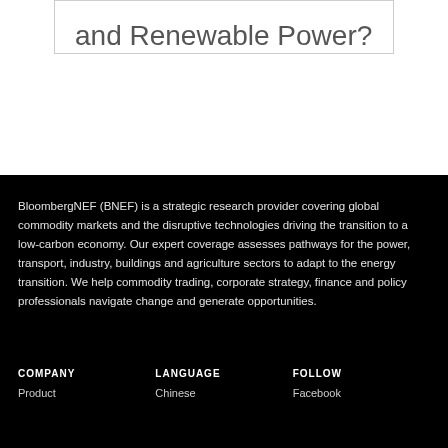and Renewable Power?
BloombergNEF (BNEF) is a strategic research provider covering global commodity markets and the disruptive technologies driving the transition to a low-carbon economy. Our expert coverage assesses pathways for the power, transport, industry, buildings and agriculture sectors to adapt to the energy transition. We help commodity trading, corporate strategy, finance and policy professionals navigate change and generate opportunities.
COMPANY
LANGUAGE
FOLLOW
Product
Chinese
Facebook